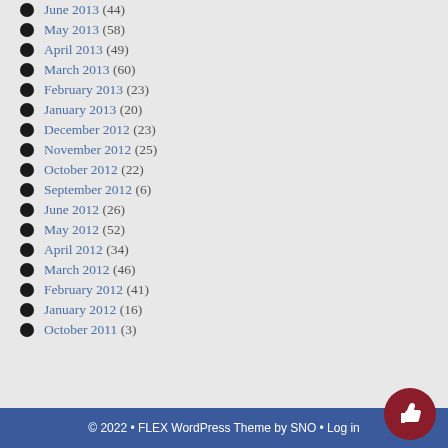June 2013 (44)
May 2013 (58)
April 2013 (49)
March 2013 (60)
February 2013 (23)
January 2013 (20)
December 2012 (23)
November 2012 (25)
October 2012 (22)
September 2012 (6)
June 2012 (26)
May 2012 (52)
April 2012 (34)
March 2012 (46)
February 2012 (41)
January 2012 (16)
October 2011 (3)
© 2022 • FLEX WordPress Theme by SNO • Log in